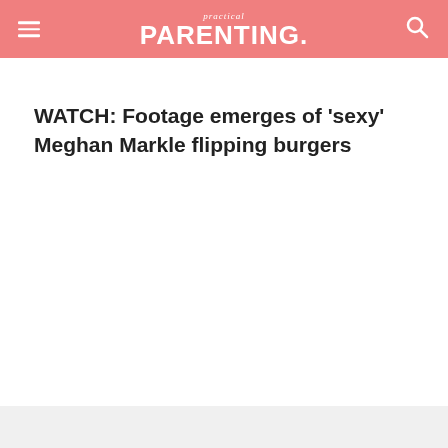practical PARENTING.
WATCH: Footage emerges of 'sexy' Meghan Markle flipping burgers